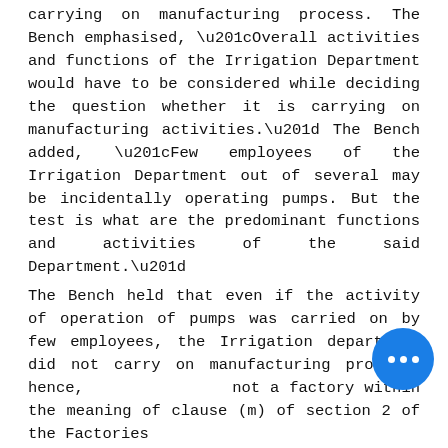carrying on manufacturing process. The Bench emphasised, “Overall activities and functions of the Irrigation Department would have to be considered while deciding the question whether it is carrying on manufacturing activities.” The Bench added, “Few employees of the Irrigation Department out of several may be incidentally operating pumps. But the test is what are the predominant functions and activities of the said Department.”
The Bench held that even if the activity of operation of pumps was carried on by few employees, the Irrigation department did not carry on manufacturing process, hence, not a factory within the meaning of clause (m) of section 2 of the Factories